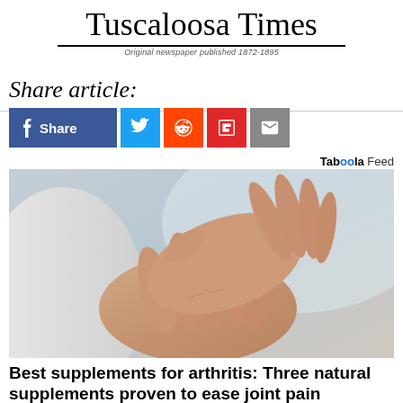Tuscaloosa Times
Original newspaper published 1872-1895
Share article:
[Figure (infographic): Social share buttons: Facebook Share, Twitter, Reddit, Flipboard, Email]
Taboola Feed
[Figure (photo): Elderly person's hands clasped together, one hand massaging the other, suggesting arthritis joint pain. Light blue-grey background.]
Best supplements for arthritis: Three natural supplements proven to ease joint pain